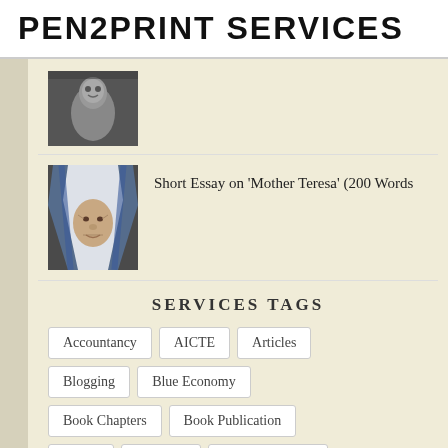PEN2PRINT SERVICES
[Figure (photo): Black and white photo of a smiling young child lying down]
[Figure (photo): Close-up photo of Mother Teresa wearing her characteristic white and blue habit]
Short Essay on 'Mother Teresa' (200 Words
SERVICES TAGS
Accountancy
AICTE
Articles
Blogging
Blue Economy
Book Chapters
Book Publication
Books
Business
Civic Amenities
Coaching
Colleges
Conferences
Development
Development Blog